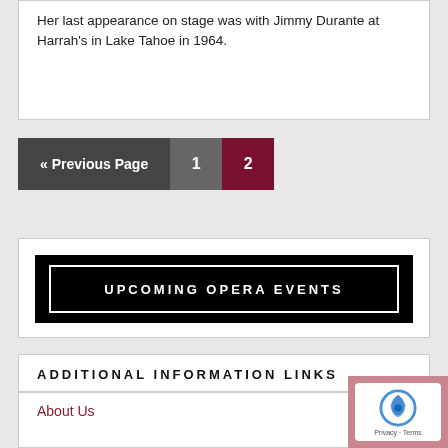Her last appearance on stage was with Jimmy Durante at Harrah's in Lake Tahoe in 1964.
« Previous Page  1  2
UPCOMING OPERA EVENTS
ADDITIONAL INFORMATION LINKS
About Us